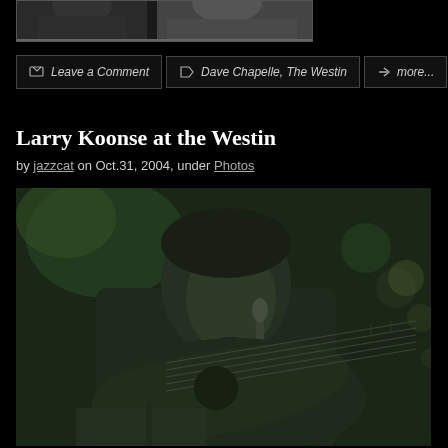[Figure (photo): Partial top photo of a person, cropped, dark background]
Leave a Comment
Dave Chapelle, The Westin
more...
Larry Koonse at the Westin
by jazzcat on Oct.31, 2004, under Photos
[Figure (photo): Black and white / sepia-green tinted photo of Larry Koonse playing jazz guitar, wearing a suit, with a microphone in front of him]